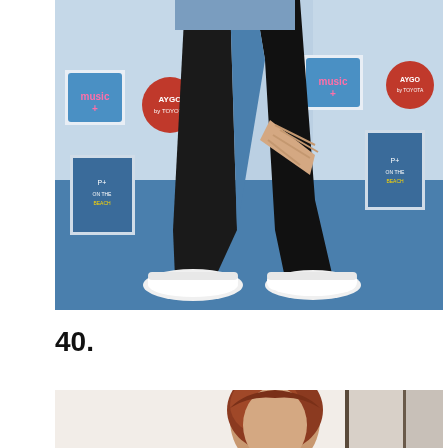[Figure (photo): Person wearing black opaque tights, denim shorts, and white ballet flats, posing at an event with a branded backdrop featuring music logos including 'music+' and 'AYGO by Toyota'. Blue carpet floor visible.]
40.
[Figure (photo): Partial photo showing a person with red/auburn hair in what appears to be a white interior setting.]